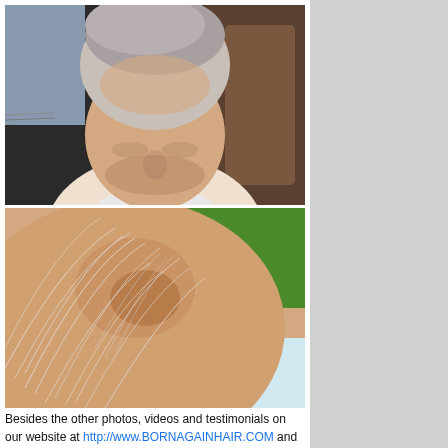[Figure (photo): Photo of an older man with grey/white hair sitting in a car, head bowed showing top of head with thinning hair. Two stacked photos: top shows face/front view in car seat, bottom shows close-up of thinning crown of head with sparse white hair and skin visible.]
Besides the other photos, videos and testimonials on our website at http://www.BORNAGAINHAIR.COM and the